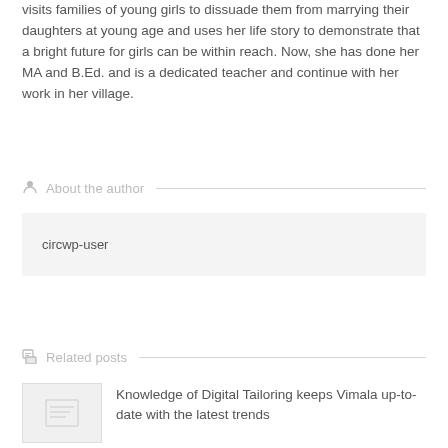visits families of young girls to dissuade them from marrying their daughters at young age and uses her life story to demonstrate that a bright future for girls can be within reach. Now, she has done her MA and B.Ed. and is a dedicated teacher and continue with her work in her village.
About the author
circwp-user
Related posts
Knowledge of Digital Tailoring keeps Vimala up-to-date with the latest trends